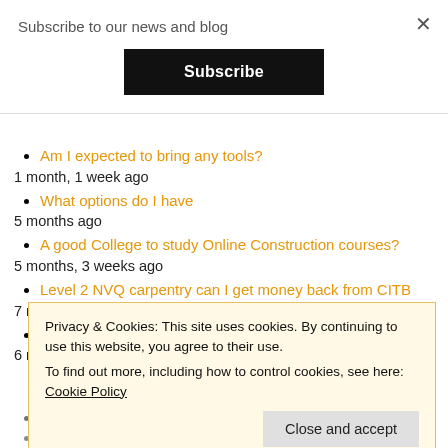Subscribe to our news and blog
Subscribe
Am I expected to bring any tools?
1 month, 1 week ago
What options do I have
5 months ago
A good College to study Online Construction courses?
5 months, 3 weeks ago
Level 2 NVQ carpentry can I get money back from CITB
7 months ago
Anyone worked for hays
6 months, 2 weeks ago
Privacy & Cookies: This site uses cookies. By continuing to use this website, you agree to their use.
To find out more, including how to control cookies, see here:
Cookie Policy
Close and accept
Am I expected to bring any tools?
What options do I have